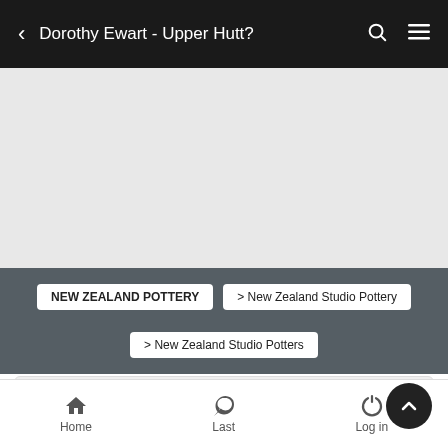Dorothy Ewart - Upper Hutt?
[Figure (other): Gray map placeholder area]
NEW ZEALAND POTTERY
> New Zealand Studio Pottery
> New Zealand Studio Potters
Dorothy Ewart - Upper Hutt?
Home   Last   Log in